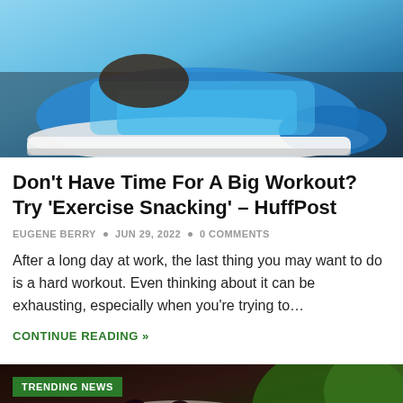[Figure (photo): Close-up photo of a person tying blue athletic running shoes]
Don't Have Time For A Big Workout? Try 'Exercise Snacking' – HuffPost
EUGENE BERRY • JUN 29, 2022 • 0 COMMENTS
After a long day at work, the last thing you may want to do is a hard workout. Even thinking about it can be exhausting, especially when you're trying to…
CONTINUE READING »
[Figure (photo): Bowl of mixed berries (mulberries, blackberries) with green leaves in background, with TRENDING NEWS badge overlay]